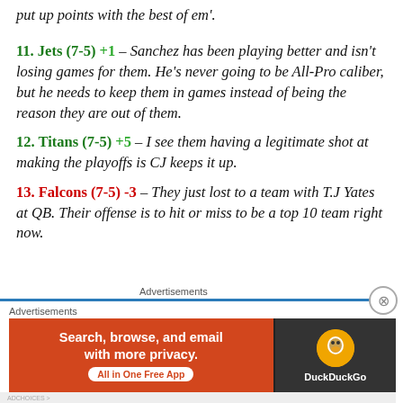put up points with the best of em'.
11. Jets (7-5) +1 – Sanchez has been playing better and isn't losing games for them. He's never going to be All-Pro caliber, but he needs to keep them in games instead of being the reason they are out of them.
12. Titans (7-5) +5 – I see them having a legitimate shot at making the playoffs is CJ keeps it up.
13. Falcons (7-5) -3 – They just lost to a team with T.J Yates at QB. Their offense is to hit or miss to be a top 10 team right now.
Advertisements
[Figure (other): DuckDuckGo advertisement banner: Search, browse, and email with more privacy. All in One Free App. DuckDuckGo logo on dark background.]